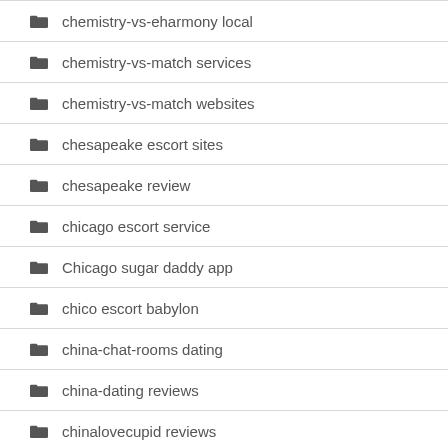chemistry-vs-eharmony local
chemistry-vs-match services
chemistry-vs-match websites
chesapeake escort sites
chesapeake review
chicago escort service
Chicago sugar daddy app
chico escort babylon
china-chat-rooms dating
china-dating reviews
chinalovecupid reviews